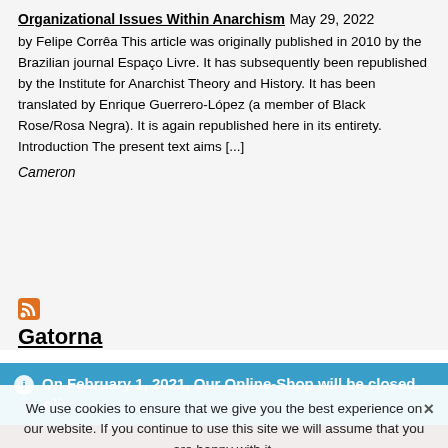Organizational Issues Within Anarchism May 29, 2022 by Felipe Corrêa This article was originally published in 2010 by the Brazilian journal Espaço Livre. It has subsequently been republished by the Institute for Anarchist Theory and History. It has been translated by Enrique Guerrero-López (a member of Black Rose/Rosa Negra). It is again republished here in its entirety. Introduction The present text aims [...]
Cameron
[Figure (other): RSS feed icon (orange square with wave symbol)]
Gatorna
On February 1, 2021, Our Online-Shop will be closed. All orders until January 31 will be delivered
Dismiss
We use cookies to ensure that we give you the best experience on our website. If you continue to use this site we will assume that you are happy with it.
Ok
×